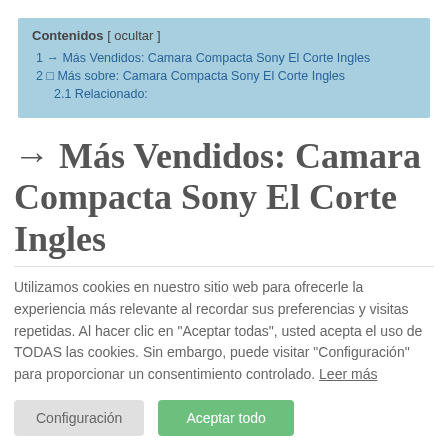| Contenidos [ ocultar ] |
| 1 → Más Vendidos: Camara Compacta Sony El Corte Ingles |
| 2 □ Más sobre: Camara Compacta Sony El Corte Ingles |
| 2.1 Relacionado: |
→ Más Vendidos: Camara Compacta Sony El Corte Ingles
Utilizamos cookies en nuestro sitio web para ofrecerle la experiencia más relevante al recordar sus preferencias y visitas repetidas. Al hacer clic en "Aceptar todas", usted acepta el uso de TODAS las cookies. Sin embargo, puede visitar "Configuración" para proporcionar un consentimiento controlado. Leer más
Configuración    Aceptar todo